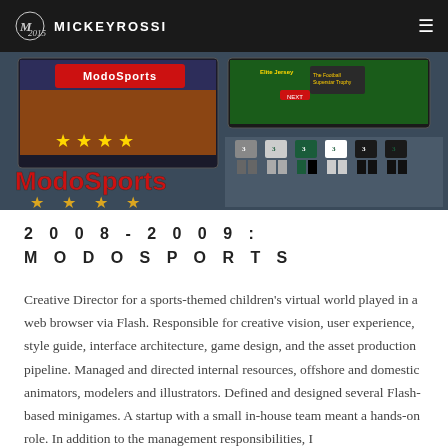MICKEYROSSI
[Figure (screenshot): Screenshot of ModoSports website and branding materials showing a sports-themed virtual world game interface with the ModoSports logo, star icons, football uniforms, and game UI screens.]
2008-2009:
MODOSPORTS
Creative Director for a sports-themed children's virtual world played in a web browser via Flash. Responsible for creative vision, user experience, style guide, interface architecture, game design, and the asset production pipeline. Managed and directed internal resources, offshore and domestic animators, modelers and illustrators. Defined and designed several Flash-based minigames. A startup with a small in-house team meant a hands-on role. In addition to the management responsibilities, I